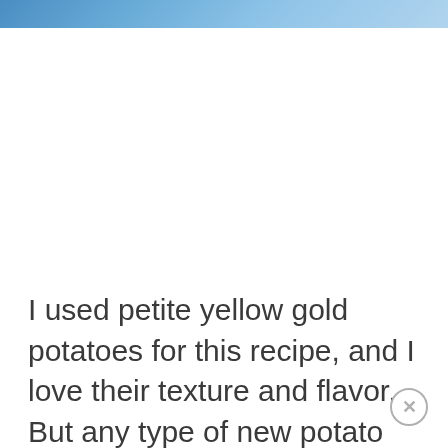[Figure (photo): Partial photo strip at top of page showing a blue-toned food or ingredient image, cropped to a narrow horizontal band]
I used petite yellow gold potatoes for this recipe, and I love their texture and flavor. But any type of new potato will work. Look for ones that are small and round; these are often packaged